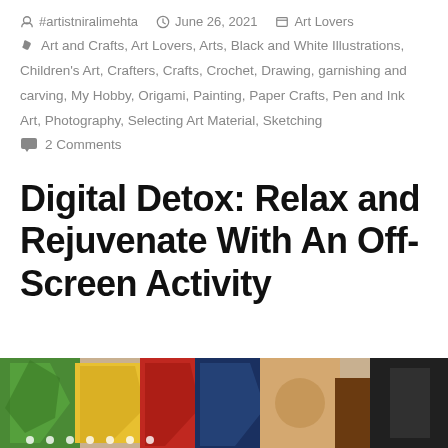#artistniralimehta  June 26, 2021  Art Lovers
Art and Crafts, Art Lovers, Arts, Black and White Illustrations, Children's Art, Crafters, Crafts, Crochet, Drawing, garnishing and carving, My Hobby, Origami, Painting, Paper Crafts, Pen and Ink Art, Photography, Selecting Art Material, Sketching
2 Comments
Digital Detox: Relax and Rejuvenate With An Off-Screen Activity
[Figure (photo): Colorful origami paper crafts including folded paper flowers and shapes in green, yellow, red, blue, and other colors arranged together]